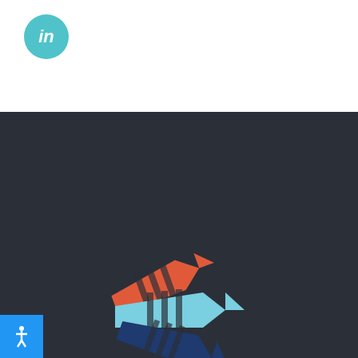[Figure (logo): LinkedIn social media icon — teal/cyan circular button with white 'in' text]
[Figure (logo): Forward Wayne County logo — three overlapping arrows pointing right in red/coral, light blue, and dark blue colors, arranged diagonally on a dark background]
Forward Wayne County
A backbone organization created to foster a vibrant economy and promote prosperity.